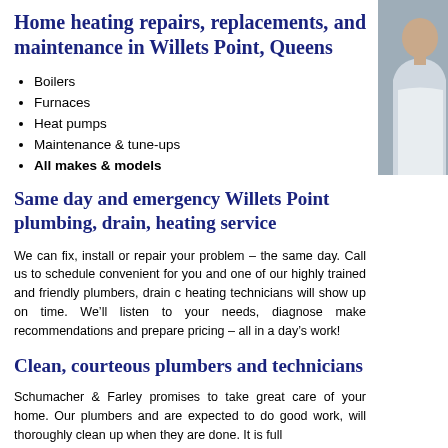Home heating repairs, replacements, and maintenance in Willets Point, Queens
[Figure (photo): Photo of a person, partially visible on the right side of the page]
Boilers
Furnaces
Heat pumps
Maintenance & tune-ups
All makes & models
Same day and emergency Willets Point plumbing, drain, heating service
We can fix, install or repair your problem – the same day. Call us to schedule convenient for you and one of our highly trained and friendly plumbers, drain c heating technicians will show up on time. We’ll listen to your needs, diagnose make recommendations and prepare pricing – all in a day’s work!
Clean, courteous plumbers and technicians
Schumacher & Farley promises to take great care of your home. Our plumbers and are expected to do good work, will thoroughly clean up when they are done. It is fully...